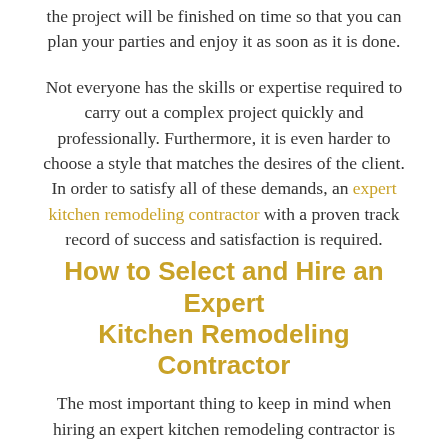the project will be finished on time so that you can plan your parties and enjoy it as soon as it is done.
Not everyone has the skills or expertise required to carry out a complex project quickly and professionally. Furthermore, it is even harder to choose a style that matches the desires of the client. In order to satisfy all of these demands, an expert kitchen remodeling contractor with a proven track record of success and satisfaction is required.
How to Select and Hire an Expert Kitchen Remodeling Contractor
The most important thing to keep in mind when hiring an expert kitchen remodeling contractor is proven success in previous projects. Perhaps the easiest way to prove someone's ability to perform a job well is their past. A contractor with an impressive portfolio of various projects shows that